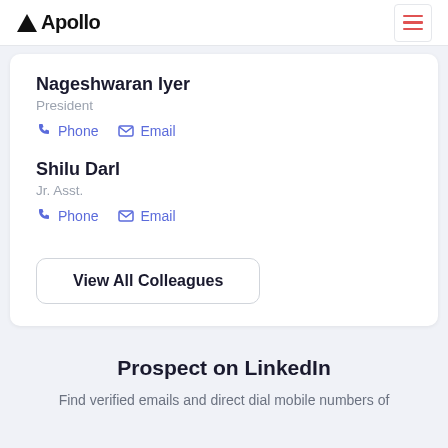Apollo
Nageshwaran Iyer
President
Phone  Email
Shilu Darl
Jr. Asst.
Phone  Email
View All Colleagues
Prospect on LinkedIn
Find verified emails and direct dial mobile numbers of